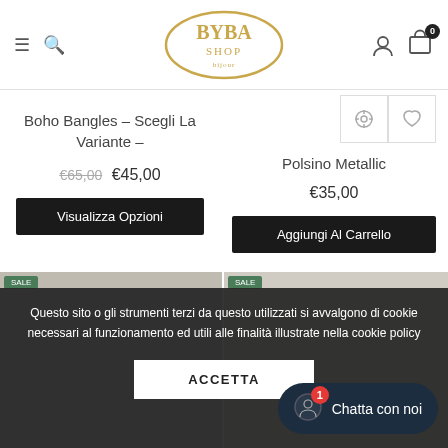BYBA SHOP
Boho Bangles - Scegli La Variante -
€65,00 €45,00
Visualizza Opzioni
Polsino Metallic
€35,00
Aggiungi Al Carrello
Questo sito o gli strumenti terzi da questo utilizzati si avvalgono di cookie necessari al funzionamento ed utili alle finalità illustrate nella cookie policy
ACCETTA
Chatta con noi